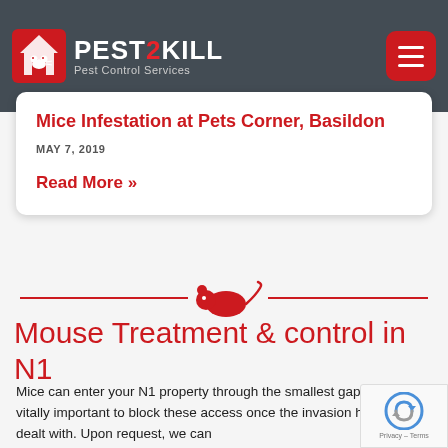[Figure (logo): Pest2Kill Pest Control Services logo with red house and mouse icon on dark blurred background, with hamburger menu button top right]
Mice Infestation at Pets Corner, Basildon
MAY 7, 2019
Read More »
[Figure (illustration): Red decorative mouse silhouette icon centered between two red horizontal lines acting as a divider]
Mouse Treatment & control in N1
Mice can enter your N1 property through the smallest gaps. So, it is vitally important to block these access once the invasion has been dealt with. Upon request, we can